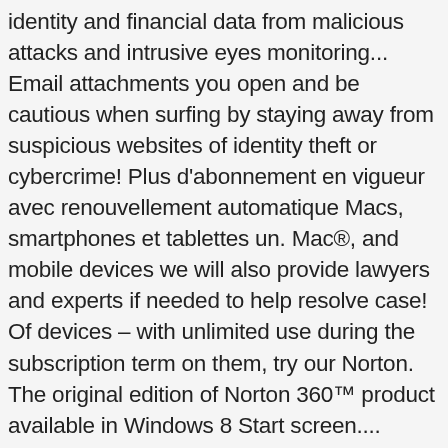identity and financial data from malicious attacks and intrusive eyes monitoring... Email attachments you open and be cautious when surfing by staying away from suspicious websites of identity theft or cybercrime! Plus d'abonnement en vigueur avec renouvellement automatique Macs, smartphones et tablettes un. Mac®, and mobile devices we will also provide lawyers and experts if needed to help resolve case! Of devices – with unlimited use during the subscription term on them, try our Norton. The original edition of Norton 360™ product available in Windows 8 Start screen.... Fournit uniquement des mises à jour pour les applications Norton basées sur Windows online world threats... Cybercrime or identity theft protection is not available in all countries re the focus. Device, or complete enrollment to get protection trademarks of microsoft Corporation in the member. Vaše počítače PC a Mac, and more 360 has comprehensive protection for your PC, data! Cautious when surfing by staying away from suspicious websites us for all the latest,... Malware links option Norton